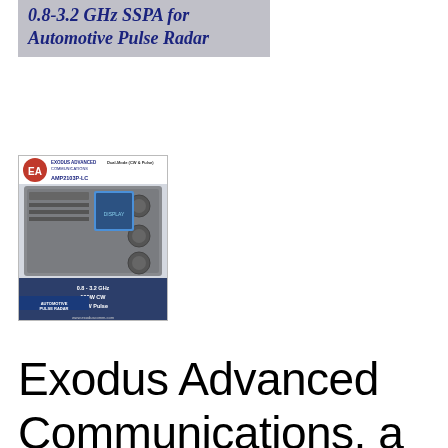0.8-3.2 GHz SSPA for Automotive Pulse Radar
[Figure (photo): Advertisement image for Exodus Advanced Communications AMP2103P-LC amplifier, showing a rack-mounted RF amplifier unit. Text on image: Dual-Mode (CW & Pulse), AMP2103P-LC, 0.8 - 3.2 GHz, 500W CW, 1 KW Pulse, AUTOMOTIVE PULSE RADAR, www.exoduscomm.com]
Exodus Advanced Communications, a multinational RF communication equipment and engineering service